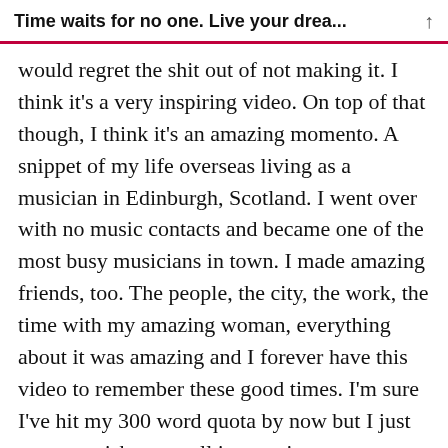Time waits for no one. Live your drea...
would regret the shit out of not making it. I think it's a very inspiring video. On top of that though, I think it's an amazing momento. A snippet of my life overseas living as a musician in Edinburgh, Scotland. I went over with no music contacts and became one of the most busy musicians in town. I made amazing friends, too. The people, the city, the work, the time with my amazing woman, everything about it was amazing and I forever have this video to remember these good times. I'm sure I've hit my 300 word quota by now but I just want to wish you well in your journey forward. It takes many small steps and there may be setbacks. If you prepare for it though you can do great and will be able to make many amazing memories for yourself.